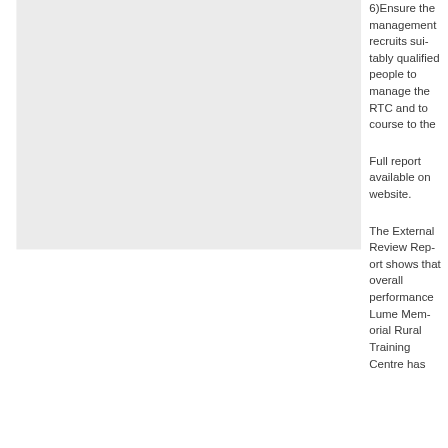6)Ensure the management recruits suitably qualified people to manage the RTC and to course to the
Full report available on website.
The External Review Report shows that overall performance Lume Memorial Rural Training Centre has